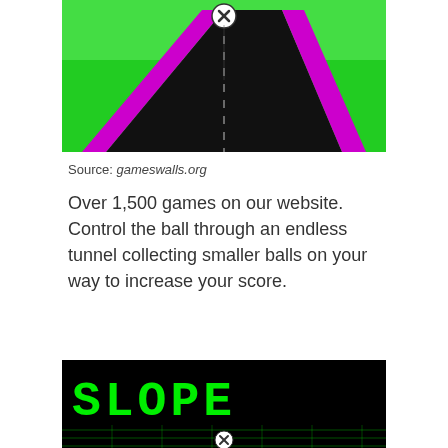[Figure (screenshot): Screenshot of a 3D tunnel game with green background and black road bordered by pink/magenta lines, with an X close button overlay at top center]
Source: gameswalls.org
Over 1,500 games on our website. Control the ball through an endless tunnel collecting smaller balls on your way to increase your score.
[Figure (screenshot): Screenshot of the Slope game showing green pixel text 'SLOPE' on black background with neon green wireframe 3D city landscape and a ball with X close button overlay]